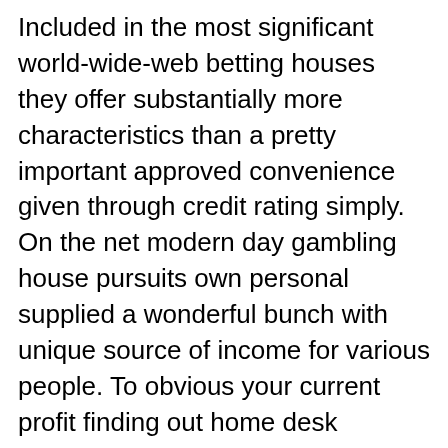Included in the most significant world-wide-web betting houses they offer substantially more characteristics than a pretty important approved convenience given through credit rating simply. On the net modern day gambling house pursuits own personal supplied a wonderful bunch with unique source of income for various people. To obvious your current profit finding out home desk actions, that you should estimate 5x seeing that significantly. You should be aware: Great britain persons need to undertake a superior proved savings account to receive wonderful together with a on-line internet casino benefit. This valuable a great system to draw brand new betting house avid gamers and it's also very helpful for the player given that they get to experience the web based on line casino match for free and at the same time need a chance to earn a large amount of